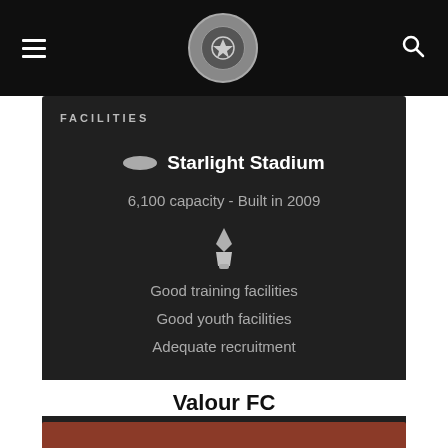Navigation bar with hamburger menu, logo, and search icon
FACILITIES
Starlight Stadium
6,100 capacity  -  Built in 2009
Good training facilities
Good youth facilities
Adequate recruitment
Valour FC